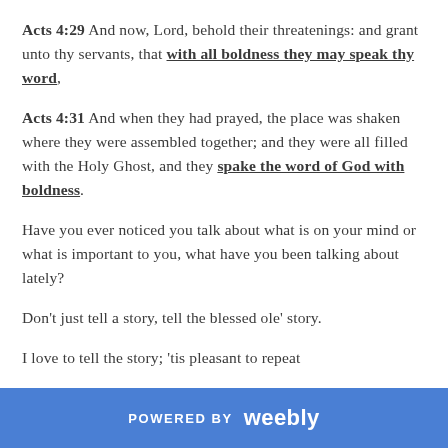Acts 4:29 And now, Lord, behold their threatenings: and grant unto thy servants, that with all boldness they may speak thy word,
Acts 4:31 And when they had prayed, the place was shaken where they were assembled together; and they were all filled with the Holy Ghost, and they spake the word of God with boldness.
Have you ever noticed you talk about what is on your mind or what is important to you, what have you been talking about lately?
Don't just tell a story, tell the blessed ole' story.
I love to tell the story; 'tis pleasant to repeat
POWERED BY weebly